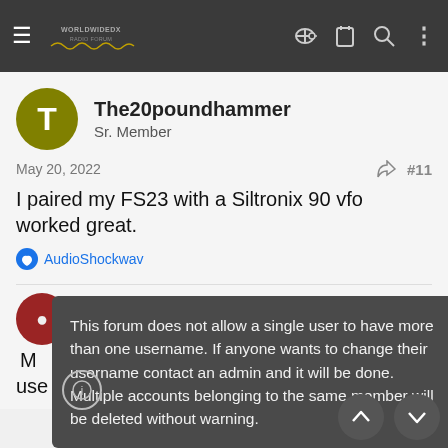Worldwidedx Radio Forum - navigation bar
The20poundhammer
Sr. Member
May 20, 2022
#11
I paired my FS23 with a Siltronix 90 vfo worked great.
AudioShockwav
#12
This forum does not allow a single user to have more than one username. If anyone wants to change their username contact an admin and it will be done. Multiple accounts belonging to the same member will be deleted without warning.
d I g   ot use out of it.